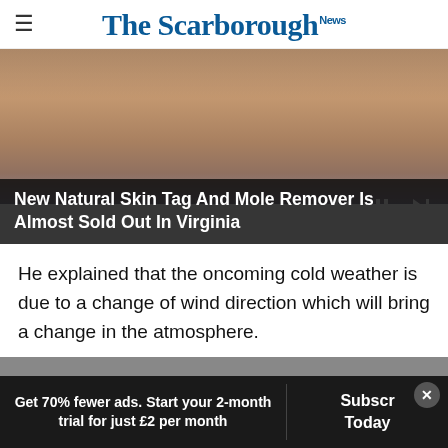The Scarborough News
[Figure (photo): Close-up photo of a person's face/hand area with video player overlay showing play controls and progress bar]
New Natural Skin Tag And Mole Remover Is Almost Sold Out In Virginia
He explained that the oncoming cold weather is due to a change of wind direction which will bring a change in the atmosphere.
Partridge said: "The air we had on Sunday cam
Get 70% fewer ads. Start your 2-month trial for just £2 per month | Subscribe Today